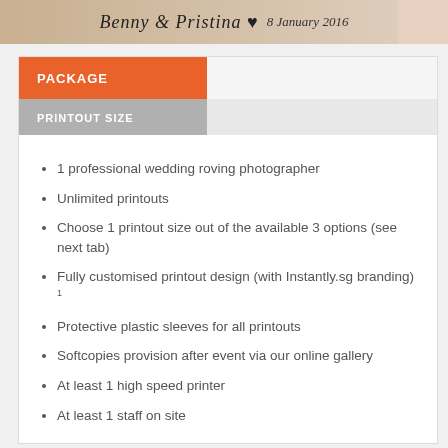[Figure (photo): Wedding banner with cursive text 'Benny & Pristina' with heart emoji and date '8 January 2016', with a photo on the right side]
PACKAGE
PRINTOUT SIZE
1 professional wedding roving photographer
Unlimited printouts
Choose 1 printout size out of the available 3 options (see next tab)
Fully customised printout design (with Instantly.sg branding) 1
Protective plastic sleeves for all printouts
Softcopies provision after event via our online gallery
At least 1 high speed printer
At least 1 staff on site